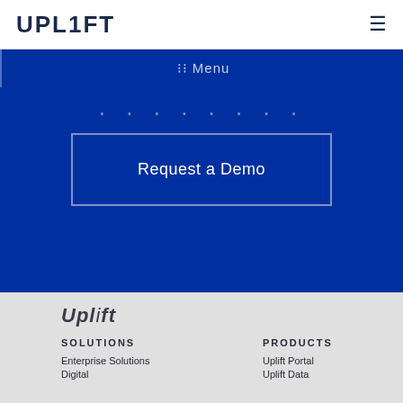UPL1FT
☰ Menu
Request a Demo
[Figure (logo): Uplift logo in dark italic style]
SOLUTIONS
PRODUCTS
Enterprise Solutions
Digital
Uplift Portal
Uplift Data